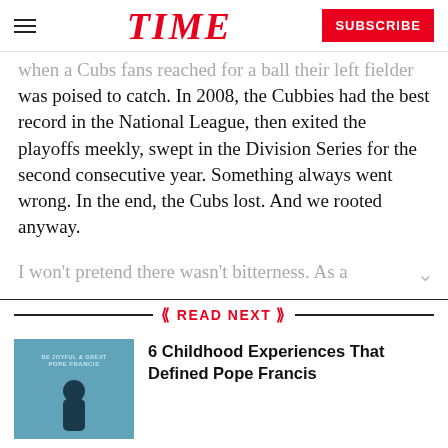TIME | SUBSCRIBE
when a Cubs fans reached for a ball their left fielder was poised to catch. In 2008, the Cubbies had the best record in the National League, then exited the playoffs meekly, swept in the Division Series for the second consecutive year. Something always went wrong. In the end, the Cubs lost. And we rooted anyway.
I won't pretend there wasn't bitterness. As a
READ NEXT
[Figure (photo): Book cover image related to Pope Francis on teal/blue background with silhouette figure]
6 Childhood Experiences That Defined Pope Francis